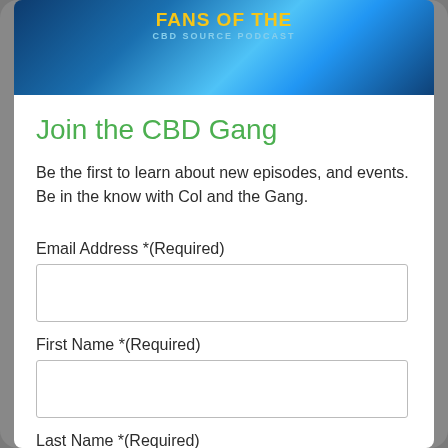[Figure (illustration): Blue galaxy/space themed banner with text 'FANS OF THE CBD SOURCE PODCAST']
Join the CBD Gang
Be the first to learn about new episodes, and events. Be in the know with Col and the Gang.
Email Address *(Required)
First Name *(Required)
Last Name *(Required)